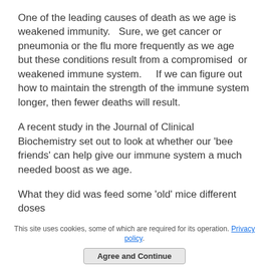One of the leading causes of death as we age is weakened immunity.   Sure, we get cancer or pneumonia or the flu more frequently as we age but these conditions result from a compromised  or weakened immune system.    If we can figure out how to maintain the strength of the immune system longer, then fewer deaths will result.
A recent study in the Journal of Clinical Biochemistry set out to look at whether our 'bee friends' can help give our immune system a much needed boost as we age.
What they did was feed some 'old' mice different doses
This site uses cookies, some of which are required for its operation. Privacy policy. Agree and Continue